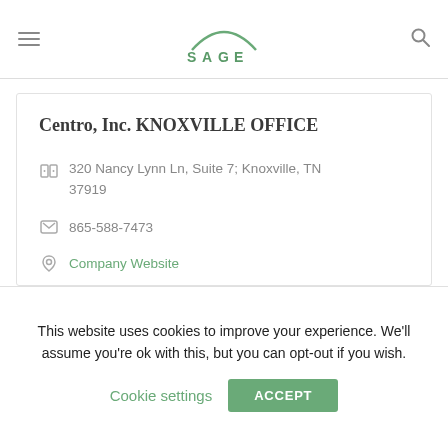SAGE
Centro, Inc. KNOXVILLE OFFICE
320 Nancy Lynn Ln, Suite 7; Knoxville, TN 37919
865-588-7473
Company Website
This website uses cookies to improve your experience. We'll assume you're ok with this, but you can opt-out if you wish.